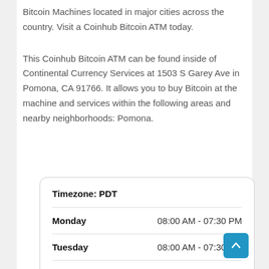Bitcoin Machines located in major cities across the country. Visit a Coinhub Bitcoin ATM today.
This Coinhub Bitcoin ATM can be found inside of Continental Currency Services at 1503 S Garey Ave in Pomona, CA 91766. It allows you to buy Bitcoin at the machine and services within the following areas and nearby neighborhoods: Pomona.
| Timezone: PDT |  |
| --- | --- |
| Monday | 08:00 AM - 07:30 PM |
| Tuesday | 08:00 AM - 07:30 PM |
| Wednesday | 08:00 AM - 07:30 PM |
| Thursday | 08:00 AM - 07:30 PM |